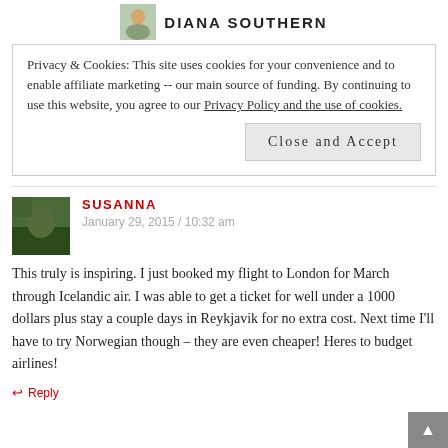DIANA SOUTHERN
Privacy & Cookies: This site uses cookies for your convenience and to enable affiliate marketing -- our main source of funding. By continuing to use this website, you agree to our Privacy Policy and the use of cookies.
Close and Accept
SUSANNA
January 29, 2015 / 10:32 am
This truly is inspiring. I just booked my flight to London for March through Icelandic air. I was able to get a ticket for well under a 1000 dollars plus stay a couple days in Reykjavik for no extra cost. Next time I'll have to try Norwegian though – they are even cheaper! Heres to budget airlines!
Reply